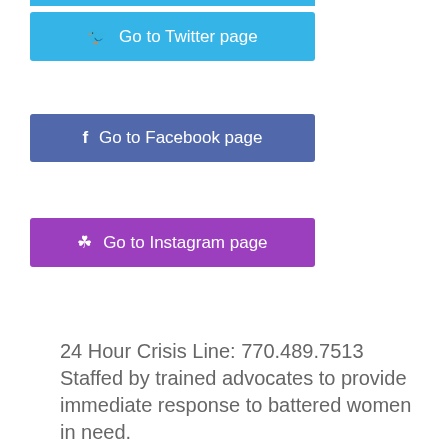Go to Twitter page
Go to Facebook page
Go to Instagram page
24 Hour Crisis Line: 770.489.7513
Staffed by trained advocates to provide immediate response to battered women in need.
Emergency Shelter
25 bed shelter available with 24 hour intake for battered and homeless women and children.
Transitional Program
A stepping stone for women to go from crisis to independant living. There are seven transitional housing units which will house up to 12 women and their children.
Case Management
Families are provided with comprehensive case